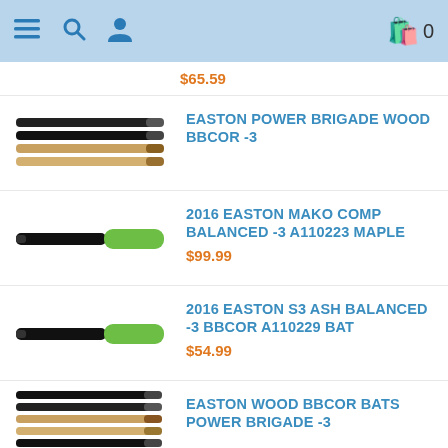Navigation bar with menu, search, user icons and shopping bag with 0 items
$65.59
EASTON POWER BRIGADE WOOD BBCOR -3
2016 EASTON MAKO COMP BALANCED -3 A110223 MAPLE
$99.99
2016 EASTON S3 ASH BALANCED -3 BBCOR A110229 BAT
$54.99
EASTON WOOD BBCOR BATS POWER BRIGADE -3
EASTON WOOD PRO GRADE MAPLE 110...